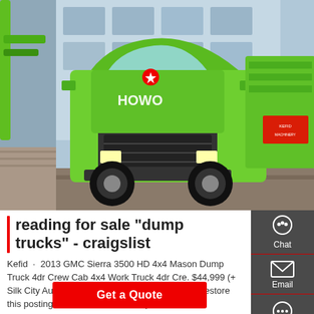[Figure (photo): Green HOWO dump truck parked outdoors, front-side view, with a hydraulic arm visible on the left and a red sign on the right side of the truck.]
reading for sale "dump trucks" - craigslist
Kefid · 2013 GMC Sierra 3500 HD 4x4 Mason Dump Truck 4dr Crew Cab 4x4 Work Truck 4dr Cre. $44,999 (+ Silk City Auto Mall ) pic hide this posting restore restore this posting. $29,999. favorite this post Dec 8.
Get a Quote